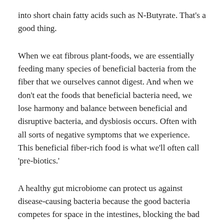into short chain fatty acids such as N-Butyrate. That's a good thing.
When we eat fibrous plant-foods, we are essentially feeding many species of beneficial bacteria from the fiber that we ourselves cannot digest. And when we don't eat the foods that beneficial bacteria need, we lose harmony and balance between beneficial and disruptive bacteria, and dysbiosis occurs. Often with all sorts of negative symptoms that we experience. This beneficial fiber-rich food is what we'll often call 'pre-biotics.'
A healthy gut microbiome can protect us against disease-causing bacteria because the good bacteria competes for space in the intestines, blocking the bad guys from establishing a strong community. Beneficial bacteria can also help us absorb otherwise non-absorbable nutrients like certain antioxidant polyphenols, produce some micronutrients like vitamin K, and provide needed